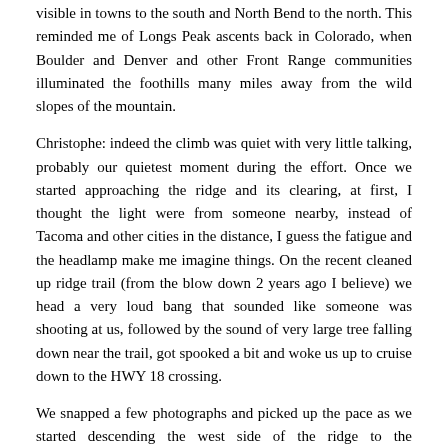visible in towns to the south and North Bend to the north. This reminded me of Longs Peak ascents back in Colorado, when Boulder and Denver and other Front Range communities illuminated the foothills many miles away from the wild slopes of the mountain.
Christophe: indeed the climb was quiet with very little talking, probably our quietest moment during the effort. Once we started approaching the ridge and its clearing, at first, I thought the light were from someone nearby, instead of Tacoma and other cities in the distance, I guess the fatigue and the headlamp make me imagine things. On the recent cleaned up ridge trail (from the blow down 2 years ago I believe) we head a very loud bang that sounded like someone was shooting at us, followed by the sound of very large tree falling down near the trail, got spooked a bit and woke us up to cruise down to the HWY 18 crossing.
We snapped a few photographs and picked up the pace as we started descending the west side of the ridge to the powerlines. Here Christophe gave Apryle a call to let her know that we would be arriving at the Raging River Crossing at HWY 18 around 2:15AM; about 45 minutes ahead of schedule. Christophe and I previewed this section a few weeks prior to our attempt when Apryle and I were still living in our motorhome at Snoqualmie Casino prior to closing on our condo in Issaquah. Therefore,